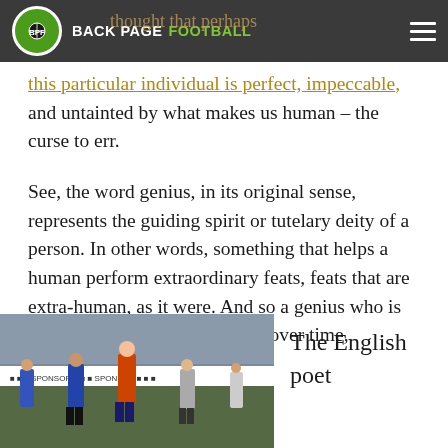BACK PAGE FOOTBALL
this particular individual is perfect, impeccable, and untainted by what makes us human – the curse to err.
See, the word genius, in its original sense, represents the guiding spirit or tutelary deity of a person. In other words, something that helps a human perform extraordinary feats, feats that are extra-human, as it were. And so a genius who is perfect, and makes no error is, over time, dehumanized.
[Figure (photo): Football players on a pitch, one wearing orange/red long-sleeve kit]
The English poet